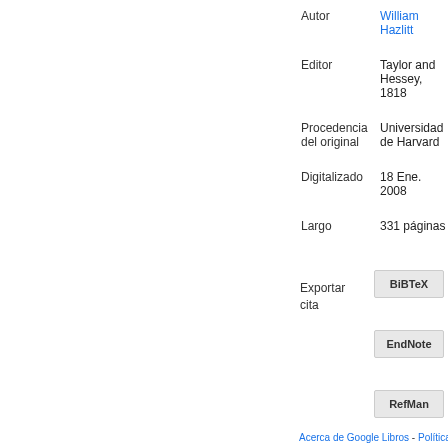| Campo | Valor |
| --- | --- |
| Autor | William Hazlitt |
| Editor | Taylor and Hessey, 1818 |
| Procedencia del original | Universidad de Harvard |
| Digitalizado | 18 Ene. 2008 |
| Largo | 331 páginas |
Exportar cita
BiBTeX
EndNote
RefMan
Acerca de Google Libros - Política de Privacidad -